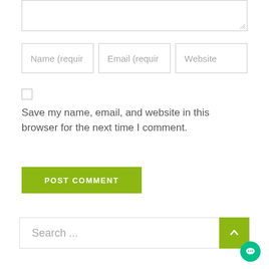[Figure (screenshot): Textarea input box (comment field) at top of page]
Name (requir
Email (requir
Website
Save my name, email, and website in this browser for the next time I comment.
POST COMMENT
Search ...